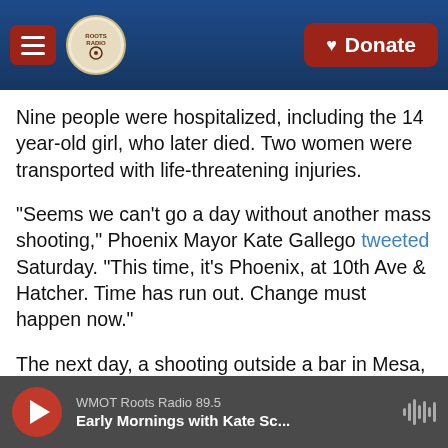Roots Radio | Donate
Nine people were hospitalized, including the 14 year-old girl, who later died. Two women were transported with life-threatening injuries.
"Seems we can't go a day without another mass shooting," Phoenix Mayor Kate Gallego tweeted Saturday. "This time, it's Phoenix, at 10th Ave & Hatcher. Time has run out. Change must happen now."
The next day, a shooting outside a bar in Mesa, Ariz. early Sunday morning left two people dead and two others injured, according to the AP.
WMOT Roots Radio 89.5 | Early Mornings with Kate Sc...